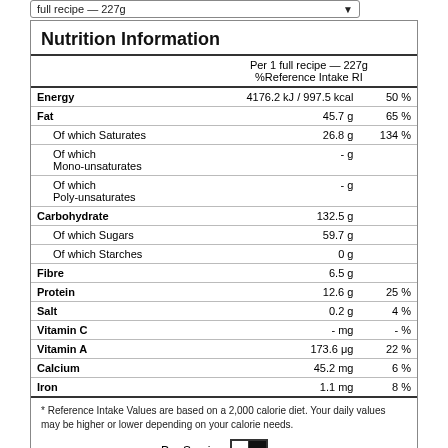Nutrition Information
|  | Per 1 full recipe — 227g
%Reference Intake RI |  |
| --- | --- | --- |
| Energy | 4176.2 kJ / 997.5 kcal | 50 % |
| Fat | 45.7 g | 65 % |
| Of which Saturates | 26.8 g | 134 % |
| Of which Mono-unsaturates | - g |  |
| Of which Poly-unsaturates | - g |  |
| Carbohydrate | 132.5 g |  |
| Of which Sugars | 59.7 g |  |
| Of which Starches | 0 g |  |
| Fibre | 6.5 g |  |
| Protein | 12.6 g | 25 % |
| Salt | 0.2 g | 4 % |
| Vitamin C | - mg | - % |
| Vitamin A | 173.6 μg | 22 % |
| Calcium | 45.2 mg | 6 % |
| Iron | 1.1 mg | 8 % |
* Reference Intake Values are based on a 2,000 calorie diet. Your daily values may be higher or lower depending on your calorie needs.
Per Serving
Full Info at cronometer.com   </>